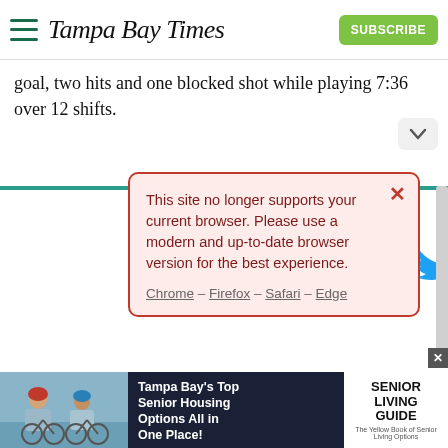Tampa Bay Times
goal, two hits and one blocked shot while playing 7:36 over 12 shifts.
This site no longer supports your current browser. Please use a modern and up-to-date browser version for the best experience.
Chrome – Firefox – Safari – Edge
Enjoy unlimited access to tampabay.com for only $11.75 $0.99 for the first month.
Subscribe
Log In
Interested in print delivery? Subscribe here →
[Figure (screenshot): Tampa Bay's Top Senior Housing Options All in One Place! advertisement with Senior Living Guide logo and photo of two elderly people on bicycles]